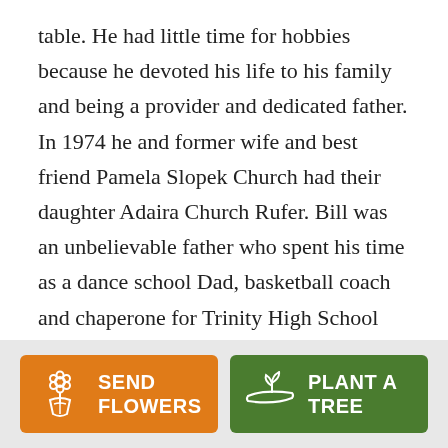table. He had little time for hobbies because he devoted his life to his family and being a provider and dedicated father. In 1974 he and former wife and best friend Pamela Slopek Church had their daughter Adaira Church Rufer. Bill was an unbelievable father who spent his time as a dance school Dad, basketball coach and chaperone for Trinity High School Marching Band home games. He never missed a recital, basketball game or band performance. Bill enjoyed volunteering for the Fairview Cemetery, BACDC and the Burgettstown Volunteer Fire Department. He was
[Figure (infographic): Two call-to-action buttons on a light gray background. Left button is orange with a flower bouquet icon and text 'SEND FLOWERS'. Right button is green with a plant/hand icon and text 'PLANT A TREE'.]